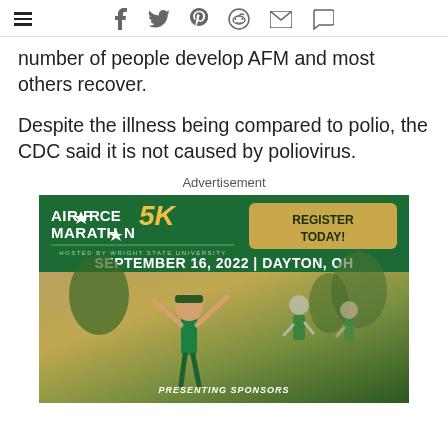Navigation and social share icons
number of people develop AFM and most others recover.
Despite the illness being compared to polio, the CDC said it is not caused by poliovirus.
Advertisement
[Figure (infographic): Air Force Marathon 5K advertisement. Register Today! Hosted by Wright State University. September 16, 2022 | Dayton, OH. Presenting Sponsors. Green background with photo of runners in green shirts.]